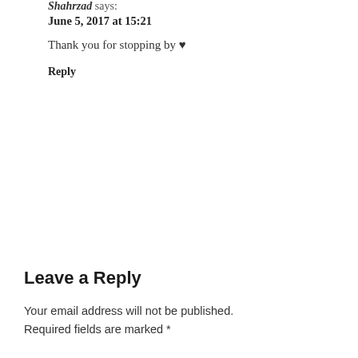Shahrzad says:
June 5, 2017 at 15:21
Thank you for stopping by ♥
Reply
Leave a Reply
Your email address will not be published. Required fields are marked *